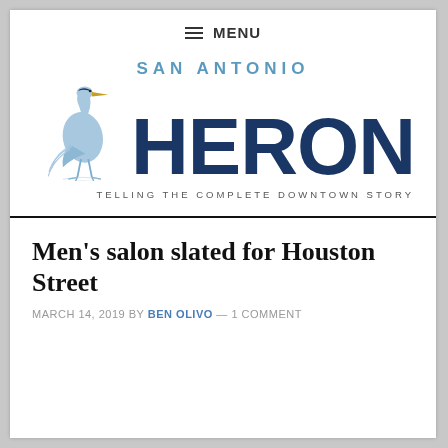≡ MENU
[Figure (logo): San Antonio Heron logo with a blue heron bird illustration and large bold HERON text, with tagline TELLING THE COMPLETE DOWNTOWN STORY]
Men’s salon slated for Houston Street
MARCH 14, 2019 BY BEN OLIVO — 1 COMMENT